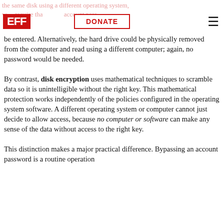EFF | DONATE
be entered. Alternatively, the hard drive could be physically removed from the computer and read using a different computer; again, no password would be needed.
By contrast, disk encryption uses mathematical techniques to scramble data so it is unintelligible without the right key. This mathematical protection works independently of the policies configured in the operating system software. A different operating system or computer cannot just decide to allow access, because no computer or software can make any sense of the data without access to the right key.
This distinction makes a major practical difference. Bypassing an account password is a routine operation